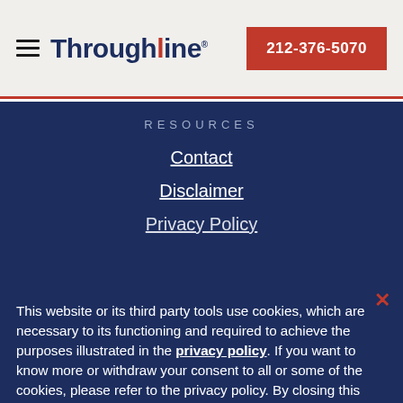Throughline — 212-376-5070
RESOURCES
Contact
Disclaimer
Privacy Policy
This website or its third party tools use cookies, which are necessary to its functioning and required to achieve the purposes illustrated in the privacy policy. If you want to know more or withdraw your consent to all or some of the cookies, please refer to the privacy policy. By closing this banner or continuing to browse otherwise, you agree to the use of cookies.